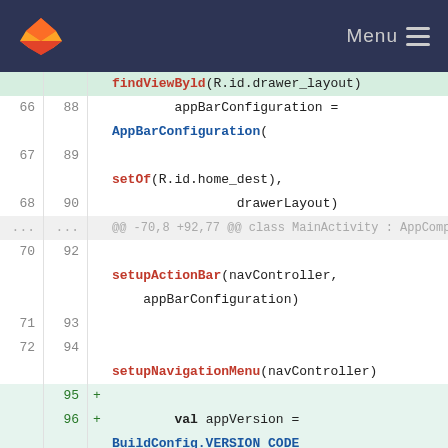GitLab Menu
[Figure (screenshot): Code diff view showing Kotlin/Android source code with line numbers and git diff highlighting. Lines include findViewByld, appBarConfiguration, AppBarConfiguration, setOf, drawerLayout, setupActionBar, setupNavigationMenu, and new lines with val appVersion = BuildConfig.VERSION_CODE, val lastVersion = 42//prefs.getInt, val lastKnownVersion =]
findViewByld(R.id.drawer_layout)
    appBarConfiguration =
AppBarConfiguration(

    setOf(R.id.home_dest),
                drawerLayout)
@@ -70,8 +92,77 @@ class MainActivity : AppCompatActivity() {

    setupActionBar(navController,
    appBarConfiguration)


    setupNavigationMenu(navController)
+
+        val appVersion =
BuildConfig.VERSION_CODE
+        val lastVersion =
42//prefs.getInt("LatestVersion", 0)
+        val lastKnownVersion =